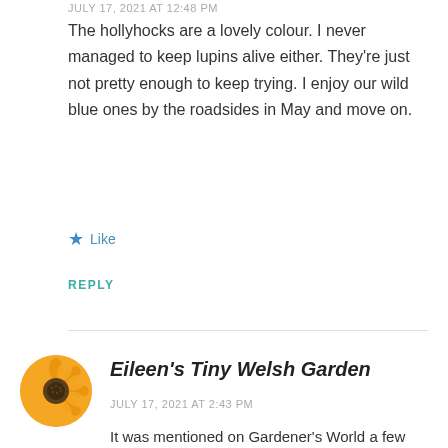JULY 17, 2021 AT 12:48 PM
The hollyhocks are a lovely colour. I never managed to keep lupins alive either. They’re just not pretty enough to keep trying. I enjoy our wild blue ones by the roadsides in May and move on.
★ Like
REPLY
Eileen's Tiny Welsh Garden
JULY 17, 2021 AT 2:43 PM
It was mentioned on Gardener’s World a few